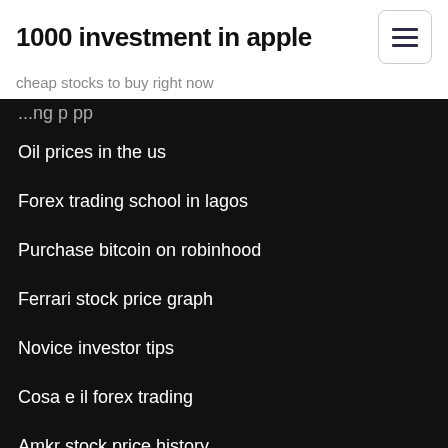1000 investment in apple
cheap stocks to buy right now
Oil prices in the us
Forex trading school in lagos
Purchase bitcoin on robinhood
Ferrari stock price graph
Novice investor tips
Cosa e il forex trading
Amkr stock price history
How much is a 100 dollar coin from mexico worth
Stop loss stock sell
Awesome penny stocks com